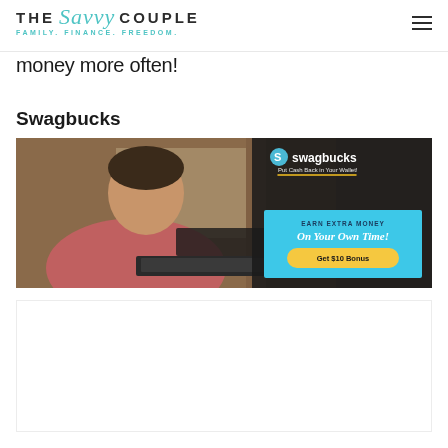THE Savvy COUPLE — FAMILY. FINANCE. FREEDOM.
money more often!
Swagbucks
[Figure (photo): Swagbucks advertisement showing a man sitting at a laptop with a yellow coffee mug, smiling, with text overlay: swagbucks Put Cash Back in Your Wallet! EARN EXTRA MONEY On Your Own Time! Get $10 Bonus]
[Figure (other): Bottom partial content area, mostly white/blank]